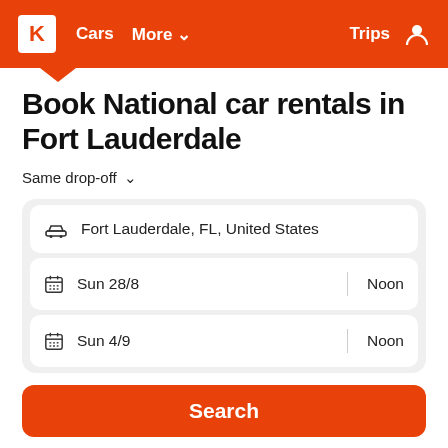K | Cars | More | Trips
Book National car rentals in Fort Lauderdale
Same drop-off ∨
Fort Lauderdale, FL, United States
Sun 28/8 | Noon
Sun 4/9 | Noon
Search
DRIVER'S AGE: 26-65 OTHER